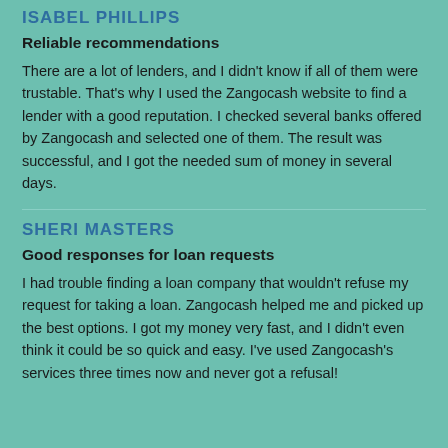ISABEL PHILLIPS
Reliable recommendations
There are a lot of lenders, and I didn't know if all of them were trustable. That's why I used the Zangocash website to find a lender with a good reputation. I checked several banks offered by Zangocash and selected one of them. The result was successful, and I got the needed sum of money in several days.
SHERI MASTERS
Good responses for loan requests
I had trouble finding a loan company that wouldn't refuse my request for taking a loan. Zangocash helped me and picked up the best options. I got my money very fast, and I didn't even think it could be so quick and easy. I've used Zangocash's services three times now and never got a refusal!